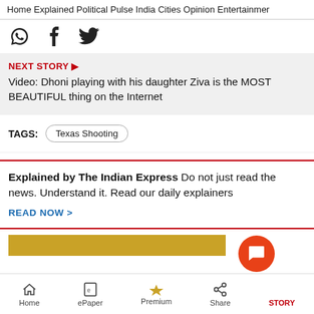Home  Explained  Political Pulse  India  Cities  Opinion  Entertainment
[Figure (other): Social share icons: WhatsApp, Facebook, Twitter]
NEXT STORY ▶ Video: Dhoni playing with his daughter Ziva is the MOST BEAUTIFUL thing on the Internet
TAGS:  Texas Shooting
Explained by The Indian Express Do not just read the news. Understand it. Read our daily explainers
READ NOW >
[Figure (other): Partial yellow banner at bottom]
Home  ePaper  Premium  Share  STORY